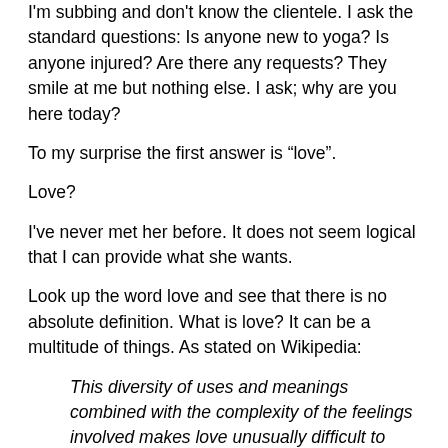I'm subbing and don't know the clientele. I ask the standard questions: Is anyone new to yoga? Is anyone injured? Are there any requests? They smile at me but nothing else. I ask; why are you here today?
To my surprise the first answer is “love”.
Love?
I've never met her before. It does not seem logical that I can provide what she wants.
Look up the word love and see that there is no absolute definition. What is love? It can be a multitude of things. As stated on Wikipedia:
This diversity of uses and meanings combined with the complexity of the feelings involved makes love unusually difficult to